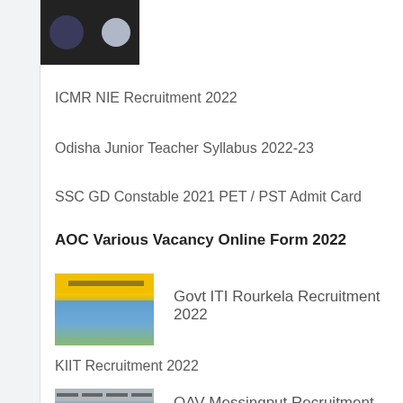[Figure (photo): Thumbnail image with dark background showing two circular profile icons]
ICMR NIE Recruitment 2022
Odisha Junior Teacher Syllabus 2022-23
SSC GD Constable 2021 PET / PST Admit Card
AOC Various Vacancy Online Form 2022
[Figure (photo): Thumbnail image of Govt ITI Rourkela building with yellow sign and blue sky]
Govt ITI Rourkela Recruitment 2022
KIIT Recruitment 2022
[Figure (photo): Thumbnail image of OAV Messingput building with dashes above]
OAV Messingput Recruitment 2022